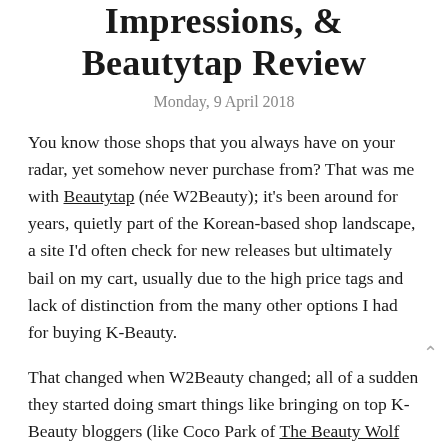Impressions, & Beautytap Review
Monday, 9 April 2018
You know those shops that you always have on your radar, yet somehow never purchase from? That was me with Beautytap (née W2Beauty); it's been around for years, quietly part of the Korean-based shop landscape, a site I'd often check for new releases but ultimately bail on my cart, usually due to the high price tags and lack of distinction from the many other options I had for buying K-Beauty.
That changed when W2Beauty changed; all of a sudden they started doing smart things like bringing on top K-Beauty bloggers (like Coco Park of The Beauty Wolf and Sheryll of The